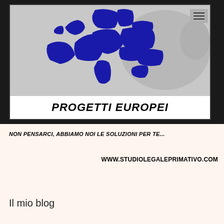[Figure (map): Map of Europe with EU member states highlighted in dark blue, non-EU countries in grey. Below the map, text reads 'PROGETTI EUROPEI' in bold italic. There is a hamburger menu icon in the top right corner of the banner frame.]
NON PENSARCI, ABBIAMO NOI LE SOLUZIONI PER TE...
WWW.STUDIOLEGALEPRIMATIVO.COM
Il mio blog